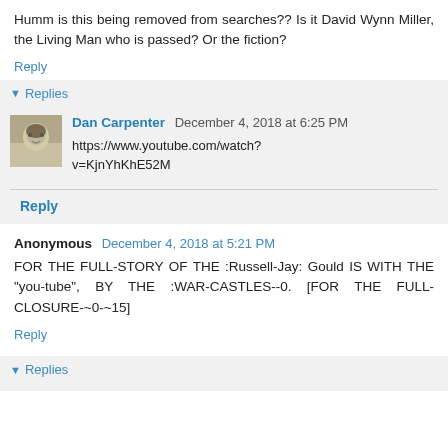Humm is this being removed from searches?? Is it David Wynn Miller, the Living Man who is passed? Or the fiction?
Reply
▼ Replies
Dan Carpenter December 4, 2018 at 6:25 PM
https://www.youtube.com/watch?v=KjnYhKhE52M
Reply
Anonymous December 4, 2018 at 5:21 PM
FOR THE FULL-STORY OF THE :Russell-Jay: Gould IS WITH THE "you-tube", BY THE :WAR-CASTLES--0. [FOR THE FULL-CLOSURE-~0-~15]
Reply
▼ Replies